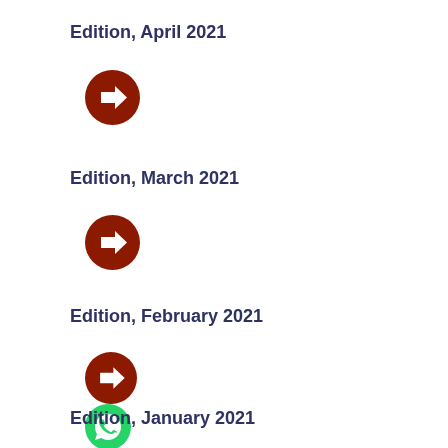Edition, April 2021
[Figure (illustration): Brown circle with white right-pointing arrow icon]
Edition, March 2021
[Figure (illustration): Brown circle with white right-pointing arrow icon]
Edition, February 2021
[Figure (illustration): Brown circle with white right-pointing arrow icon]
[Figure (illustration): Green circle with white phone/WhatsApp icon]
Edition, January 2021